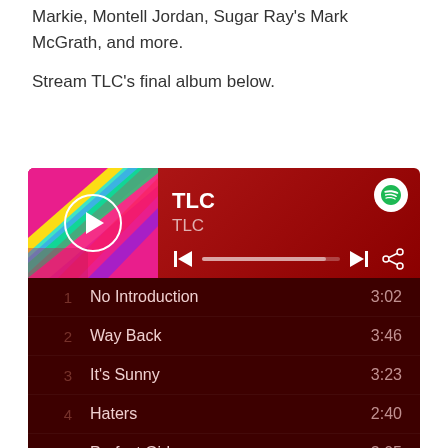Markie, Montell Jordan, Sugar Ray's Mark McGrath, and more.
Stream TLC's final album below.
[Figure (screenshot): Spotify embedded player showing TLC's self-titled album with a tracklist: 1. No Introduction 3:02, 2. Way Back 3:46, 3. It's Sunny 3:23, 4. Haters 2:40, 5. Perfect Girls 3:05, 6. Interlude 1:11, 7. Start a Fire 4:02, 8. American Gold 3:38, 9. Scandalous 3:32]